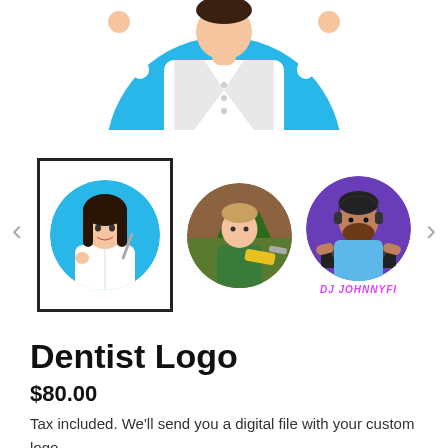[Figure (illustration): Top portion of a cartoon caricature dentist figure in white coat against blue circle background, cropped at top of page]
[Figure (illustration): Image carousel showing three caricature logos: 1) Female dentist in white holding dental tools in blue circle (selected, with black border), 2) Male worker/carpenter in green overalls holding tools in brown/green circle, 3) DJ with equipment in purple circle labeled DJ JOHNNYFI. Left and right navigation arrows visible.]
Dentist Logo
$80.00
Tax included. We'll send you a digital file with your custom logo.
Upload quality close-up photos for your custom